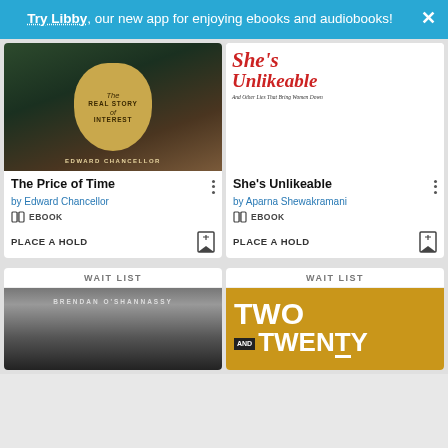Try Libby, our new app for enjoying ebooks and audiobooks!
[Figure (illustration): Book cover for 'The Real Story of Interest' by Edward Chancellor - dark green/brown background with a golden teardrop-shaped badge]
[Figure (illustration): Book cover for She's Unlikeable - white background with red italic title text and subtitle 'And Other Lies That Bring Women Down']
The Price of Time
by Edward Chancellor
EBOOK
PLACE A HOLD
She's Unlikeable
by Aparna Shewakramani
EBOOK
PLACE A HOLD
WAIT LIST
[Figure (illustration): Book cover for Brendan O'Shannassy - dark dramatic sky background with author name text]
WAIT LIST
[Figure (illustration): Book cover for Two and Twenty - gold/yellow background with large bold white text]